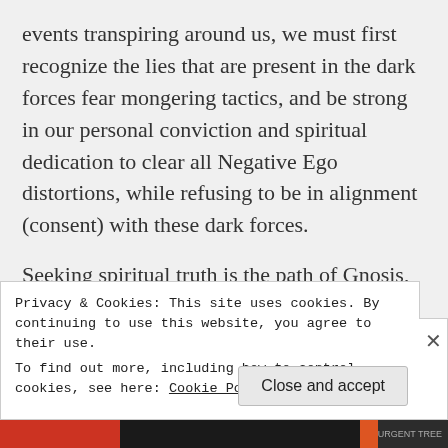events transpiring around us, we must first recognize the lies that are present in the dark forces fear mongering tactics, and be strong in our personal conviction and spiritual dedication to clear all Negative Ego distortions, while refusing to be in alignment (consent) with these dark forces.
Seeking spiritual truth is the path of Gnosis, by experiencing the Natural Laws inherent in the consciousness principles that govern our reality.
Privacy & Cookies: This site uses cookies. By continuing to use this website, you agree to their use.
To find out more, including how to control cookies, see here: Cookie Policy